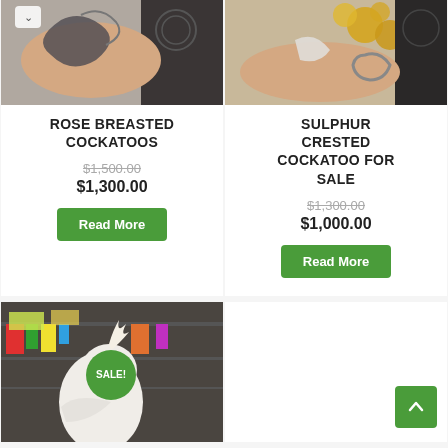[Figure (photo): Close-up photo of a bird (Rose Breasted Cockatoo) being held in a person's hand, with a dark background device visible. A dropdown arrow button is overlaid top-left.]
ROSE BREASTED COCKATOOS
$1,500.00 (strikethrough original price)
$1,300.00
Read More
[Figure (photo): Close-up photo of a bird (Sulphur Crested Cockatoo) being held by a person with a bracelet, gold ornament balls in background.]
SULPHUR CRESTED COCKATOO FOR SALE
$1,300.00 (strikethrough original price)
$1,000.00
Read More
[Figure (photo): Photo of a white cockatoo bird (Corella or similar) looking upward, inside a pet shop with cages and colorful items in background. A green 'SALE!' badge is overlaid on the image.]